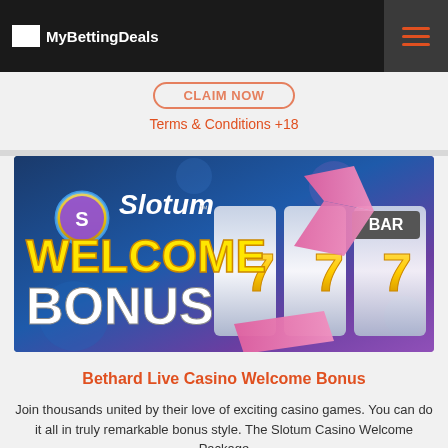MyBettingDeals
Terms & Conditions +18
[Figure (illustration): Slotum Casino Welcome Bonus promotional banner with slot machine reels showing 7s and arrows, with Slotum logo and text 'WELCOME BONUS']
Bethard Live Casino Welcome Bonus
Join thousands united by their love of exciting casino games. You can do it all in truly remarkable bonus style. The Slotum Casino Welcome Package